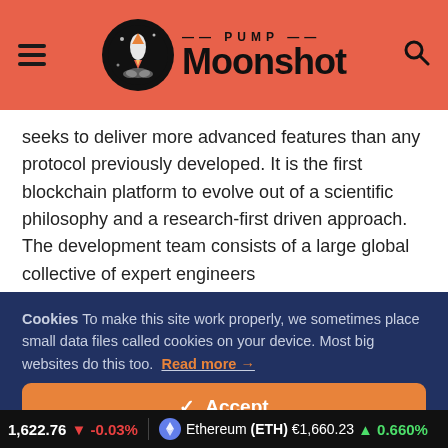PUMP Moonshot
seeks to deliver more advanced features than any protocol previously developed. It is the first blockchain platform to evolve out of a scientific philosophy and a research-first driven approach. The development team consists of a large global collective of expert engineers
Cookies To make this site work properly, we sometimes place small data files called cookies on your device. Most big websites do this too. Read more →
✔ Accept
Cookies Settings ⚙
1,622.76 ↓ -0.03% Ethereum (ETH) €1,660.23 ↑ 0.660%